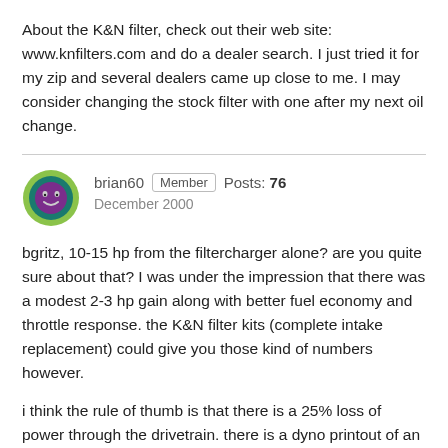About the K&N filter, check out their web site: www.knfilters.com and do a dealer search. I just tried it for my zip and several dealers came up close to me. I may consider changing the stock filter with one after my next oil change.
brian60  Member  Posts: 76  December 2000
bgritz, 10-15 hp from the filtercharger alone? are you quite sure about that? I was under the impression that there was a modest 2-3 hp gain along with better fuel economy and throttle response. the K&N filter kits (complete intake replacement) could give you those kind of numbers however.
i think the rule of thumb is that there is a 25% loss of power through the drivetrain. there is a dyno printout of an Xterra on the web somewhere that followed this rule pretty closely.